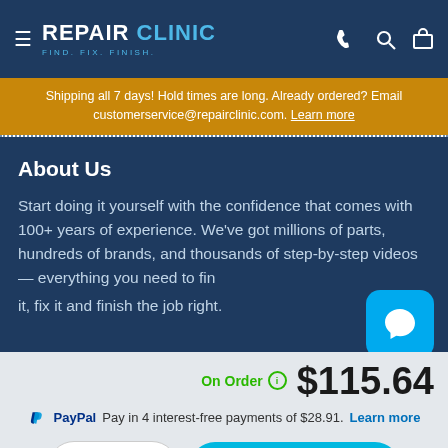REPAIR CLINIC — FIND. FIX. FINISH.
Shipping all 7 days! Hold times are long. Already ordered? Email customerservice@repairclinic.com. Learn more
About Us
Start doing it yourself with the confidence that comes with 100+ years of experience. We've got millions of parts, hundreds of brands, and thousands of step-by-step videos— everything you need to find it, fix it and finish the job right.
On Order  $115.64
PayPal Pay in 4 interest-free payments of $28.91. Learn more
1
ADD TO CART